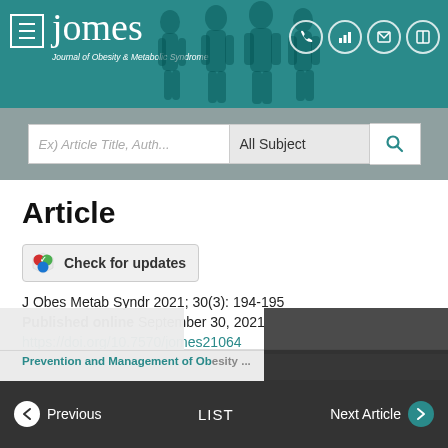[Figure (screenshot): JOMES journal website header with teal background, logo, silhouette figures, and icon buttons]
[Figure (screenshot): Search bar with text input placeholder 'Ex) Article Title, Auth', dropdown 'All Subject', and search icon button]
Article
[Figure (other): Check for updates badge button with circular icon]
J Obes Metab Syndr 2021; 30(3): 194-195
Published online September 30, 2021
https://doi.org/10.7570/jomes21064
Copyright © Korean Society for the Study of Obesity.
Public Statement on the Importance of Prevention and Management of Obesity...
← Previous    LIST    Next Article →